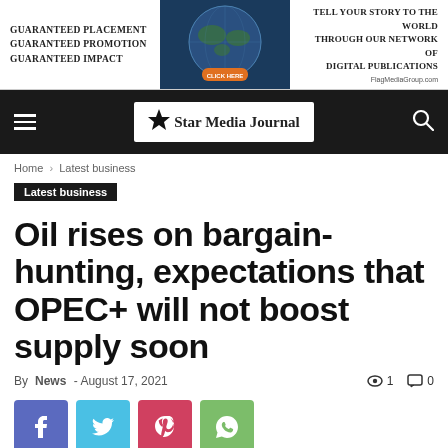[Figure (other): Advertisement banner: Guaranteed Placement, Guaranteed Promotion, Guaranteed Impact — Tell Your Story To The World Through Our Network Of Digital Publications — FlagMediaGroup.com]
Star Media Journal
Home › Latest business
Latest business
Oil rises on bargain-hunting, expectations that OPEC+ will not boost supply soon
By News - August 17, 2021  👁 1  💬 0
[Figure (other): Social share buttons: Facebook, Twitter, Pinterest, WhatsApp]